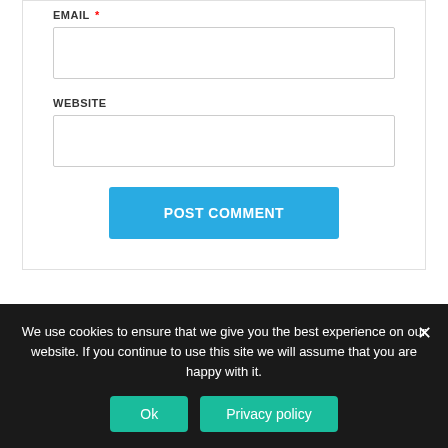EMAIL *
WEBSITE
POST COMMENT
We use cookies to ensure that we give you the best experience on our website. If you continue to use this site we will assume that you are happy with it.
Ok
Privacy policy